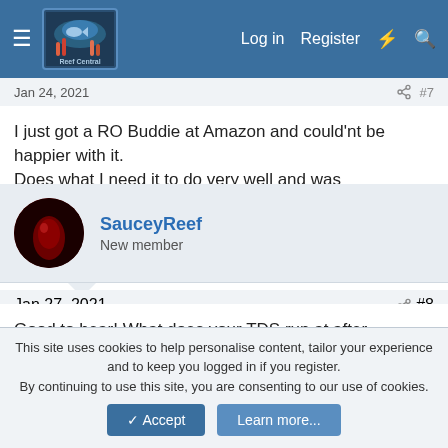Reef Central — Log in | Register
Jan 24, 2021   #7
I just got a RO Buddie at Amazon and could'nt be happier with it.
Does what I need it to do very well and was inexpensive.
SauceyReef
New member
Jan 27, 2021   #8
Good to hear! What does your TDS run at after filtration? How much water are you using? I heard the filters go fast. Was it complicated to setup?
This site uses cookies to help personalise content, tailor your experience and to keep you logged in if you register.
By continuing to use this site, you are consenting to our use of cookies.